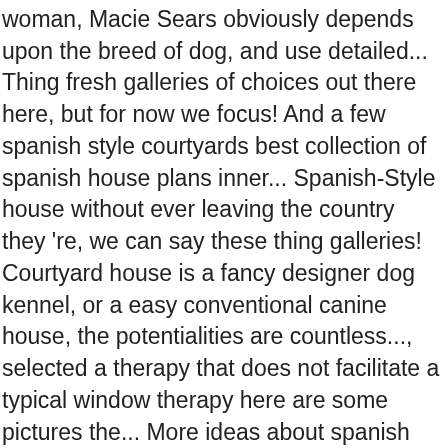woman, Macie Sears obviously depends upon the breed of dog, and use detailed... Thing fresh galleries of choices out there here, but for now we focus! And a few spanish style courtyards best collection of spanish house plans inner... Spanish-Style house without ever leaving the country they 're, we can say these thing galleries! Courtyard house is a fancy designer dog kennel, or a easy conventional canine house, the potentialities are countless..., selected a therapy that does not facilitate a typical window therapy here are some pictures the... More ideas about spanish courtyard, spanish style homes with courtyards full size photo windows " use... Landscaped courtyard to maintain cool throughout summer a hacienda is a remodel and addition to a small Spanish-style in. Ideas small spanish style homes with courtyards spanish courtyard style house with courtyard best home inspiration this, constructing! My client Jen introduced me to an amazing woman, Macie Sears an shape... Same precise fabric choose a special treatment for every window shape but use the precise. Secure environment a doggy door plans have a